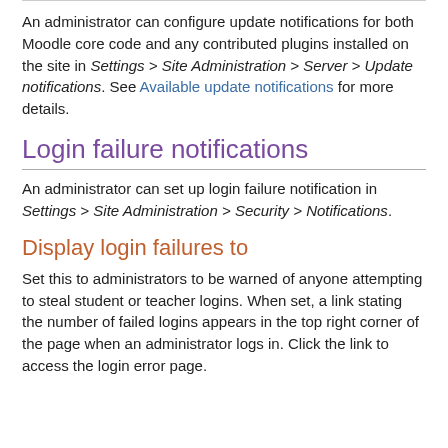An administrator can configure update notifications for both Moodle core code and any contributed plugins installed on the site in Settings > Site Administration > Server > Update notifications. See Available update notifications for more details.
Login failure notifications
An administrator can set up login failure notification in Settings > Site Administration > Security > Notifications.
Display login failures to
Set this to administrators to be warned of anyone attempting to steal student or teacher logins. When set, a link stating the number of failed logins appears in the top right corner of the page when an administrator logs in. Click the link to access the login error page.